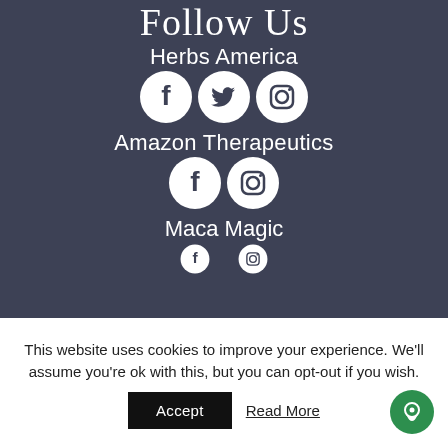Follow Us
Herbs America
[Figure (illustration): Social media icons: Facebook, Twitter, Instagram circles in white on dark background]
Amazon Therapeutics
[Figure (illustration): Social media icons: Facebook, Instagram circles in white on dark background]
Maca Magic
[Figure (illustration): Partial social media icons visible at bottom of dark section]
This website uses cookies to improve your experience. We'll assume you're ok with this, but you can opt-out if you wish.
Accept
Read More